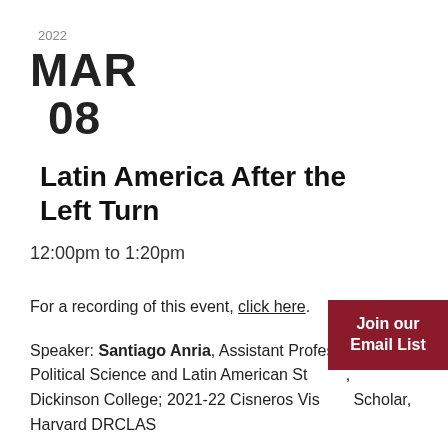2022
MAR
08
Latin America After the Left Turn
12:00pm to 1:20pm
For a recording of this event, click here.
Speaker: Santiago Anria, Assistant Professor of Political Science and Latin American Studies, Dickinson College; 2021-22 Cisneros Visiting Scholar, Harvard DRCLAS
Join our Email List